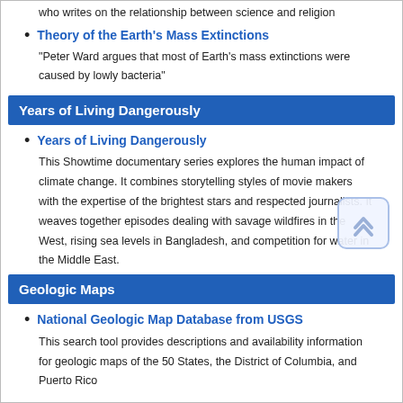who writes on the relationship between science and religion
Theory of the Earth's Mass Extinctions
"Peter Ward argues that most of Earth's mass extinctions were caused by lowly bacteria"
Years of Living Dangerously
Years of Living Dangerously
This Showtime documentary series explores the human impact of climate change. It combines storytelling styles of movie makers with the expertise of the brightest stars and respected journalists. It weaves together episodes dealing with savage wildfires in the West, rising sea levels in Bangladesh, and competition for water in the Middle East.
Geologic Maps
National Geologic Map Database from USGS
This search tool provides descriptions and availability information for geologic maps of the 50 States, the District of Columbia, and Puerto Rico